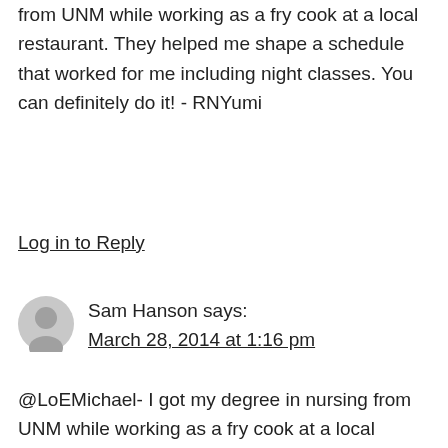from UNM while working as a fry cook at a local restaurant. They helped me shape a schedule that worked for me including night classes. You can definitely do it! - RNYumi
Log in to Reply
Sam Hanson says: March 28, 2014 at 1:16 pm
@LoEMichael- I got my degree in nursing from UNM while working as a fry cook at a local restaurant. They helped me shape a schedule that worked for me including night classes. You can definitely do it! -